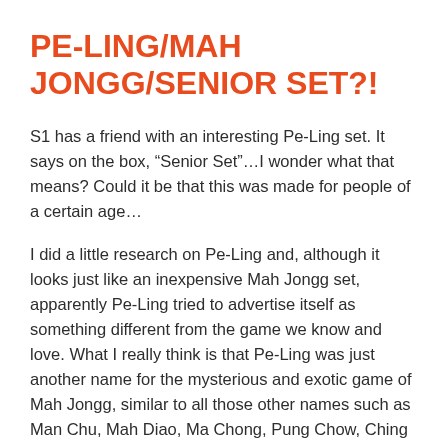PE-LING/MAH JONGG/SENIOR SET?!
S1 has a friend with an interesting Pe-Ling set. It says on the box, “Senior Set”…I wonder what that means? Could it be that this was made for people of a certain age…
I did a little research on Pe-Ling and, although it looks just like an inexpensive Mah Jongg set, apparently Pe-Ling tried to advertise itself as something different from the game we know and love. What I really think is that Pe-Ling was just another name for the mysterious and exotic game of Mah Jongg, similar to all those other names such as Man Chu, Mah Diao, Ma Chong, Pung Chow, Ching Chong, Kong Chow, Mah Deuck, Mah Cheuk, Ma Chiang, Mah Lowe, Game of Four Winds, The Ancient Game of the Mandarins, and Ma Jiang, just to name a few!